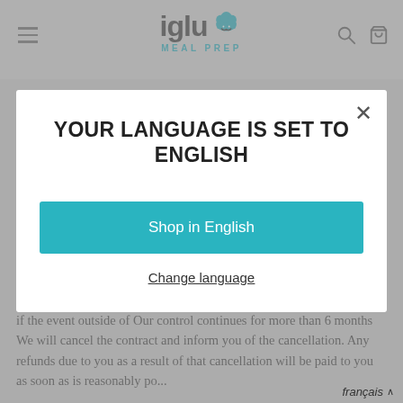[Figure (logo): Igluu Meal Prep logo with chef icon in teal and dark text]
[Figure (screenshot): Modal dialog popup on a website with language selection]
YOUR LANGUAGE IS SET TO ENGLISH
Shop in English
Change language
if the event outside of Our control continues for more than 6 months We will cancel the contract and inform you of the cancellation. Any refunds due to you as a result of that cancellation will be paid to you as soon as is reasonably po...
français ^